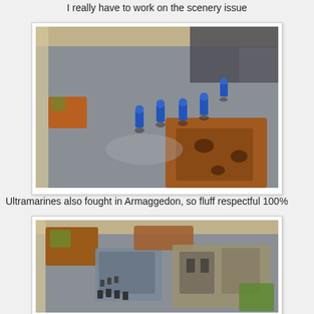I really have to work on the scenery issue
[Figure (photo): Warhammer 40K miniatures (blue Ultramarines) on a grey gaming table with some terrain pieces]
Ultramarines also fought in Armaggedon, so fluff respectful 100%
[Figure (photo): Warhammer 40K gaming table with multiple miniature units, terrain tiles, and building scenery pieces spread across a grey mat]